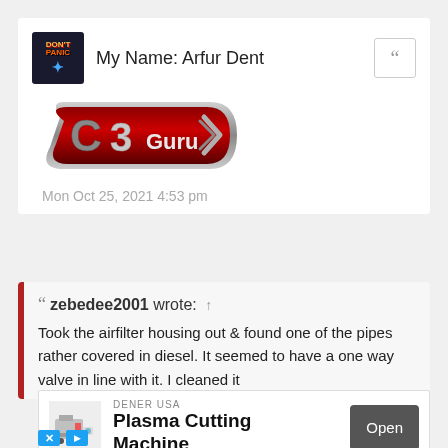My Name: Arfur Dent
[Figure (logo): C3 Guru badge logo — dark red elongated hexagon shape with C3 Guru text and silver Citroen chevrons]
Mon Oct 25, 2021 4:53 pm
" zebedee2001 wrote: ↑
Took the airfilter housing out & found one of the pipes rather covered in diesel. It seemed to have a one way valve in line with it. I cleaned it
[Figure (photo): Advertisement: DENER USA Plasma Cutting Machine with Open button]